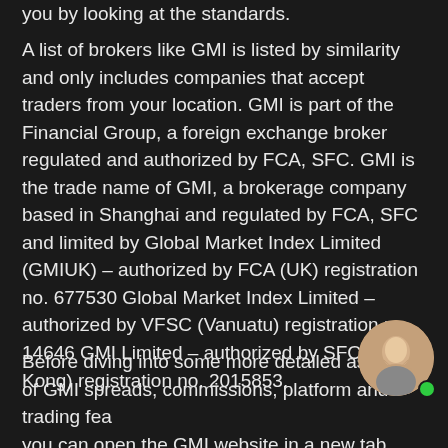you by looking at the standards.
A list of brokers like GMI is listed by similarity and only includes companies that accept traders from your location. GMI is part of the Financial Group, a foreign exchange broker regulated and authorized by FCA, SFC. GMI is the trade name of GMI, a brokerage company based in Shanghai and regulated by FCA, SFC and limited by Global Market Index Limited (GMIUK) – authorized by FCA (UK) registration no. 677530 Global Market Index Limited – authorized by VFSC (Vanuatu) registration no. 14646 GMI Limited – authorized by SFC (Hong Kong) registration no. 2015853.
Before diving into some more detailed aspects of GMI spreads, commissions, platform and trading features, you can open the GMI website in a new tab (gmimarkets.com) and view the latest information